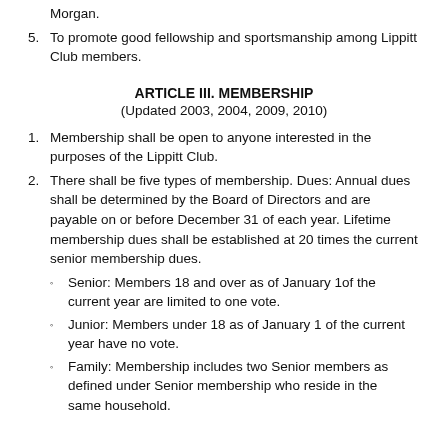Morgan.
To promote good fellowship and sportsmanship among Lippitt Club members.
ARTICLE III. MEMBERSHIP
(Updated 2003, 2004, 2009, 2010)
Membership shall be open to anyone interested in the purposes of the Lippitt Club.
There shall be five types of membership. Dues: Annual dues shall be determined by the Board of Directors and are payable on or before December 31 of each year. Lifetime membership dues shall be established at 20 times the current senior membership dues.
Senior: Members 18 and over as of January 1of the current year are limited to one vote.
Junior: Members under 18 as of January 1 of the current year have no vote.
Family: Membership includes two Senior members as defined under Senior membership who reside in the same household.